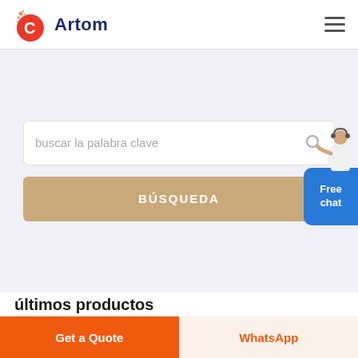Artom
[Figure (screenshot): Search interface with text input 'buscar la palabra clave', a gold BÚSQUEDA button, and a Free chat bubble on the right with an agent illustration]
últimos productos
Get a Quote
WhatsApp